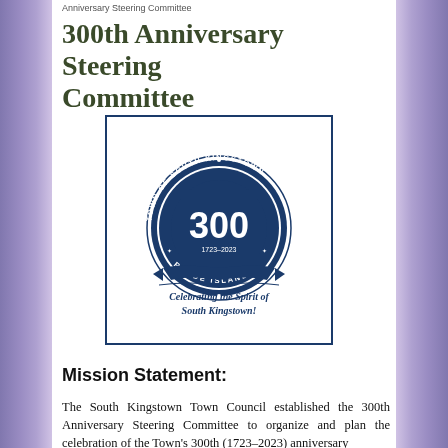Anniversary Steering Committee
300th Anniversary Steering Committee
[Figure (logo): Circular seal of the Town of South Kingstown Rhode Island showing '300' in the center with '1723-2023' below it, surrounded by text 'TOWN OF SOUTH KINGSTOWN' and 'RHODE ISLAND', with ribbon banners at the bottom. Below the seal text reads: Celebrating the Spirit of South Kingstown!]
Mission Statement:
The South Kingstown Town Council established the 300th Anniversary Steering Committee to organize and plan the celebration of the Town's 300th (1723-2023) anniversary...